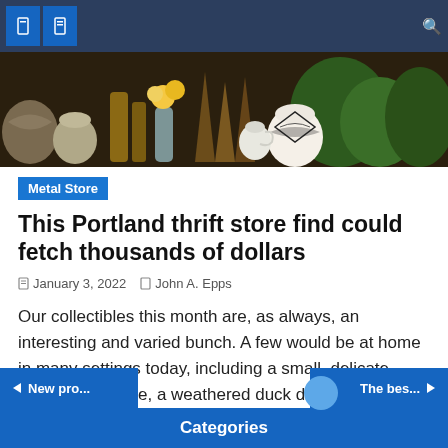Navigation bar with icons and search
[Figure (photo): Header hero image showing decorative ceramic vases, wooden sculptures, glass vases with yellow flowers, and green plants arranged on a dark wooden surface.]
Metal Store
This Portland thrift store find could fetch thousands of dollars
January 3, 2022   John A. Epps
Our collectibles this month are, as always, an interesting and varied bunch. A few would be at home in many settings today, including a small, delicate porcelain figurine, a weathered duck decoy, and a wall-sized metal sculpture. Two others – a pair of watercolors painted by a minor Austrian artist and a 1900-era mantel clock [...]
◀ New pro...   Categories   The bes... ▶